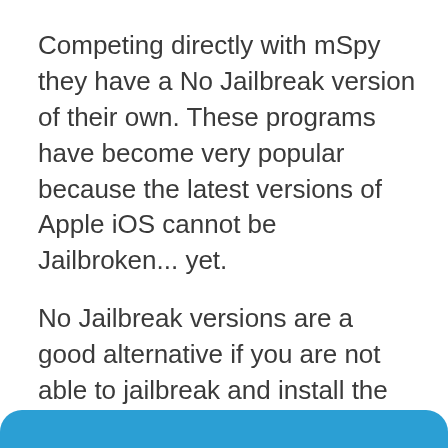Competing directly with mSpy they have a No Jailbreak version of their own. These programs have become very popular because the latest versions of Apple iOS cannot be Jailbroken... yet.
No Jailbreak versions are a good alternative if you are not able to jailbreak and install the full featured software. There are limitations to their use and the feature list is not as advanced as the full versions.